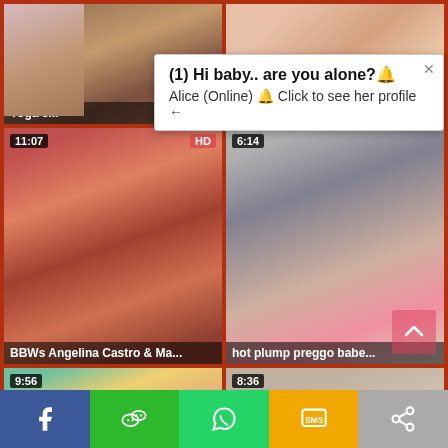[Figure (screenshot): Adult video thumbnail grid with 6 video thumbnails, timestamps, and a popup advertisement overlay. Bottom social sharing bar with Facebook, WeChat, WhatsApp, SMS, and share buttons.]